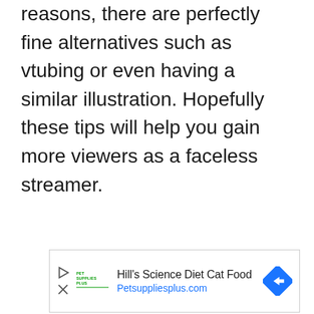reasons, there are perfectly fine alternatives such as vtubing or even having a similar illustration. Hopefully these tips will help you gain more viewers as a faceless streamer.
[Figure (other): Advertisement banner for Hill's Science Diet Cat Food at Petsuppliesplus.com, featuring Pet Supplies Plus logo, play button icon, close icon, and a blue diamond-shaped navigation arrow.]